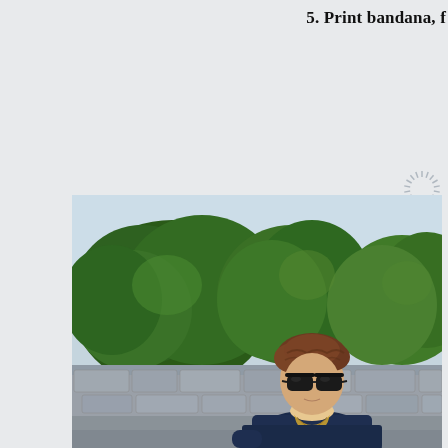5. Print bandana, f
[Figure (photo): A young man with short brown wavy hair wearing black wayfareer-style sunglasses and a navy top with a printed bandana/scarf around his neck. He is standing outdoors with green trees and a stone wall visible in the background. Natural daylight, summer setting.]